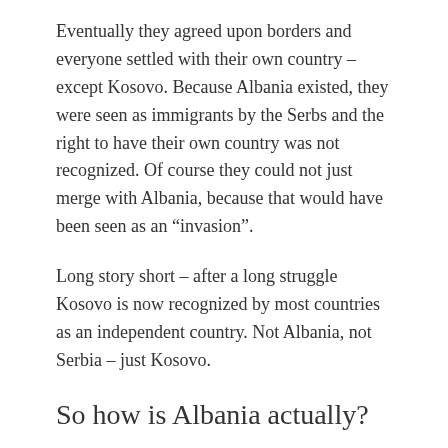Eventually they agreed upon borders and everyone settled with their own country – except Kosovo. Because Albania existed, they were seen as immigrants by the Serbs and the right to have their own country was not recognized. Of course they could not just merge with Albania, because that would have been seen as an “invasion”.
Long story short – after a long struggle Kosovo is now recognized by most countries as an independent country. Not Albania, not Serbia – just Kosovo.
So how is Albania actually?
Mind blowing! It is certainly the most underrated country in Europe. Surely, you have already heard about the beauty of Belgrade, the famous bridge of